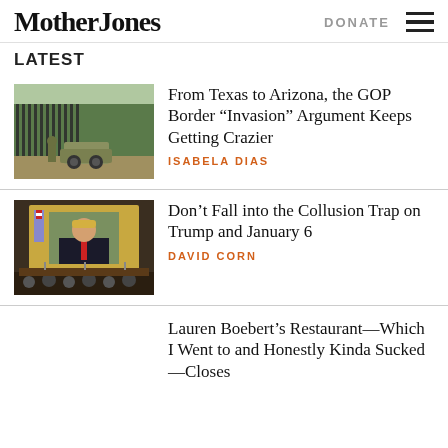Mother Jones | DONATE
LATEST
[Figure (photo): Military vehicle and soldier near border fence]
From Texas to Arizona, the GOP Border “Invasion” Argument Keeps Getting Crazier
ISABELA DIAS
[Figure (photo): Screen showing Trump image during January 6 committee hearing]
Don’t Fall into the Collusion Trap on Trump and January 6
DAVID CORN
Lauren Boebert’s Restaurant—Which I Went to and Honestly Kinda Sucked—Closes